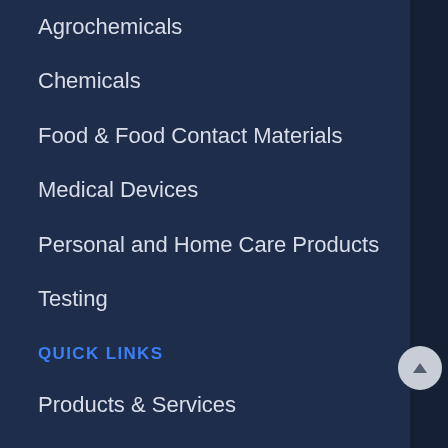Agrochemicals
Chemicals
Food & Food Contact Materials
Medical Devices
Personal and Home Care Products
Testing
QUICK LINKS
Products & Services
Industry Solutions
Resources
News & Events
About